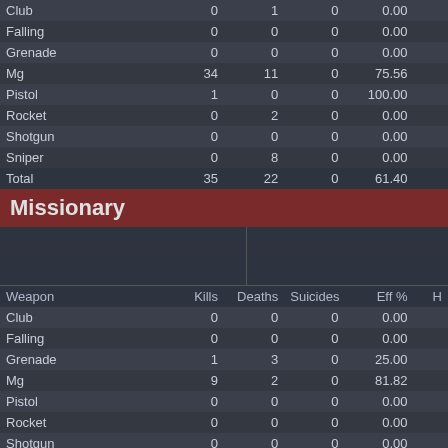| Weapon | Kills | Deaths | Suicides | Eff % | H |
| --- | --- | --- | --- | --- | --- |
| Club | 0 | 1 | 0 | 0.00 |  |
| Falling | 0 | 0 | 0 | 0.00 |  |
| Grenade | 0 | 0 | 0 | 0.00 |  |
| Mg | 34 | 11 | 0 | 75.56 |  |
| Pistol | 1 | 0 | 0 | 100.00 |  |
| Rocket | 0 | 2 | 0 | 0.00 |  |
| Shotgun | 0 | 0 | 0 | 0.00 |  |
| Sniper | 0 | 8 | 0 | 0.00 |  |
| Total | 35 | 22 | 0 | 61.40 |  |
Missionary
| Weapon | Kills | Deaths | Suicides | Eff % | H |
| --- | --- | --- | --- | --- | --- |
| Club | 0 | 0 | 0 | 0.00 |  |
| Falling | 0 | 0 | 0 | 0.00 |  |
| Grenade | 1 | 3 | 0 | 25.00 |  |
| Mg | 9 | 2 | 0 | 81.82 |  |
| Pistol | 0 | 0 | 0 | 0.00 |  |
| Rocket | 0 | 0 | 0 | 0.00 |  |
| Shotgun | 0 | 0 | 0 | 0.00 |  |
| Sniper | 2 | 1 | 0 | 66.67 |  |
| Total | 12 | 6 | 0 | 66.67 |  |
<MLS>Spc.Bama